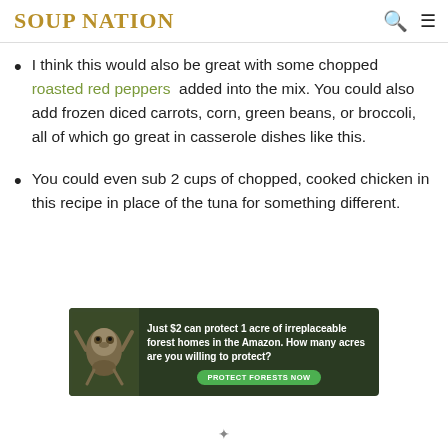SOUP NATION
I think this would also be great with some chopped roasted red peppers added into the mix. You could also add frozen diced carrots, corn, green beans, or broccoli, all of which go great in casserole dishes like this.
You could even sub 2 cups of chopped, cooked chicken in this recipe in place of the tuna for something different.
[Figure (infographic): Advertisement banner: dark green background with a sloth image on the left. Text reads: Just $2 can protect 1 acre of irreplaceable forest homes in the Amazon. How many acres are you willing to protect? Green button: PROTECT FORESTS NOW]